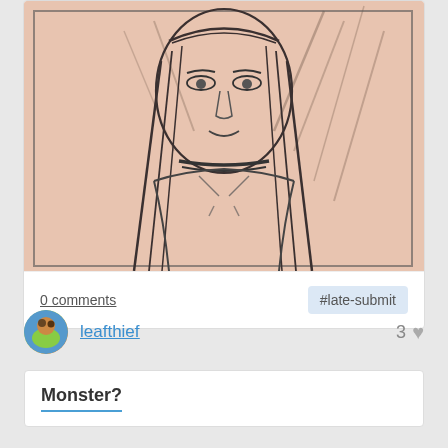[Figure (illustration): Pencil sketch of a young woman with long straight hair, wearing a choker necklace, with leaf/wing shapes in the background, drawn on pinkish paper]
0 comments
#late-submit
leafthief
3 ♥
Monster?